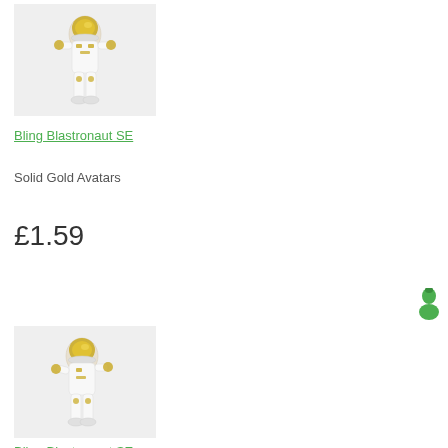[Figure (photo): White and gold astronaut figurine on light grey background, facing viewer]
Bling Blastronaut SE
Solid Gold Avatars
£1.59
[Figure (illustration): Small green person/avatar icon]
[Figure (photo): White and gold astronaut figurine on light grey background, shown from side/back angle]
Bling Blastronaut SE